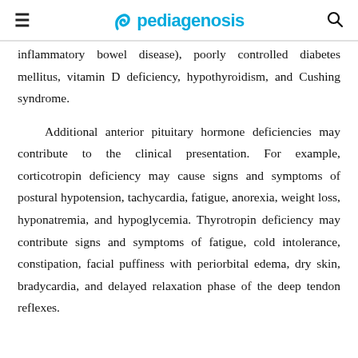pediagenosis
inflammatory bowel disease), poorly controlled diabetes mellitus, vitamin D deficiency, hypothyroidism, and Cushing syndrome.
Additional anterior pituitary hormone deficiencies may contribute to the clinical presentation. For example, corticotropin deficiency may cause signs and symptoms of postural hypotension, tachycardia, fatigue, anorexia, weight loss, hyponatremia, and hypoglycemia. Thyrotropin deficiency may contribute signs and symptoms of fatigue, cold intolerance, constipation, facial puffiness with periorbital edema, dry skin, bradycardia, and delayed relaxation phase of the deep tendon reflexes.